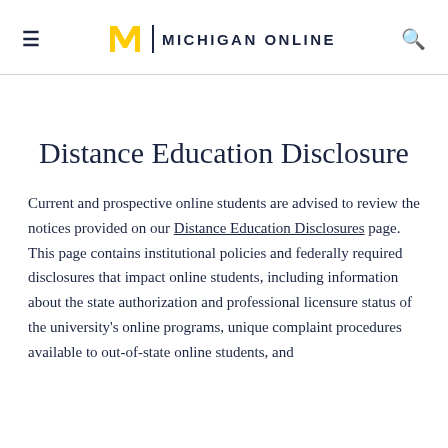≡   M | MICHIGAN ONLINE   🔍
Distance Education Disclosure
Current and prospective online students are advised to review the notices provided on our Distance Education Disclosures page. This page contains institutional policies and federally required disclosures that impact online students, including information about the state authorization and professional licensure status of the university's online programs, unique complaint procedures available to out-of-state online students, and